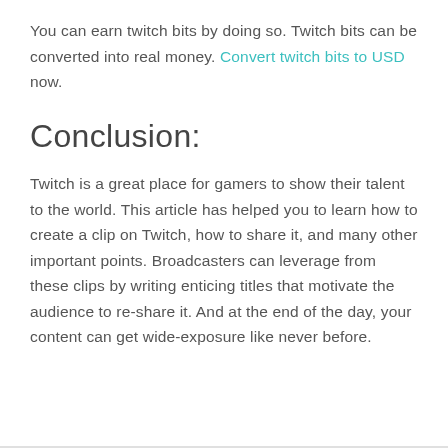You can earn twitch bits by doing so. Twitch bits can be converted into real money. Convert twitch bits to USD now.
Conclusion:
Twitch is a great place for gamers to show their talent to the world. This article has helped you to learn how to create a clip on Twitch, how to share it, and many other important points. Broadcasters can leverage from these clips by writing enticing titles that motivate the audience to re-share it. And at the end of the day, your content can get wide-exposure like never before.